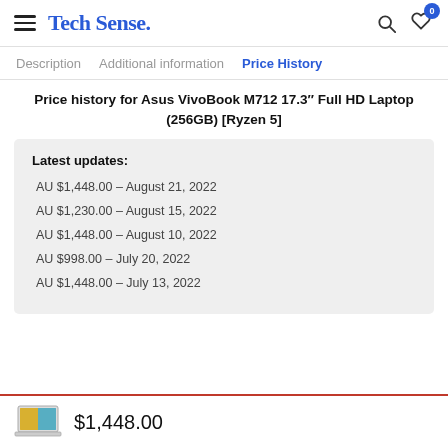Tech Sense.
Description   Additional information   Price History
Price history for Asus VivoBook M712 17.3″ Full HD Laptop (256GB) [Ryzen 5]
Latest updates:
AU $1,448.00 – August 21, 2022
AU $1,230.00 – August 15, 2022
AU $1,448.00 – August 10, 2022
AU $998.00 – July 20, 2022
AU $1,448.00 – July 13, 2022
$1,448.00